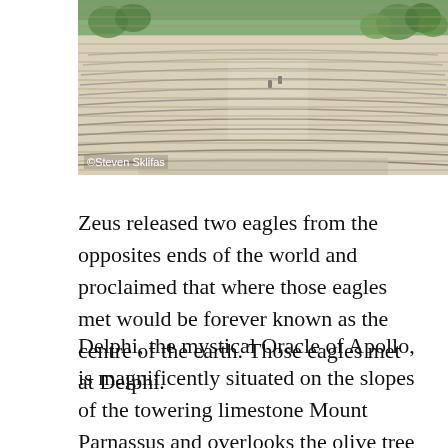[Figure (photo): Aerial view of ancient Greek theatre ruins (likely Delphi), showing semicircular stone seating rows carved into hillside, with trees visible in background. Photo credit: © Steven Sklifas]
© Steven Sklifas
Zeus released two eagles from the opposites ends of the world and proclaimed that where those eagles met would be forever known as the centre of the earth. Those eagles met at Delphi.
Delphi, the mystical Oracle of Apollo, is magnificently situated on the slopes of the towering limestone Mount Parnassus and overlooks the olive tree abundant deep valley of the River Pleistos in the provincial unit of Phocis in upper central Greece. Delphi was first